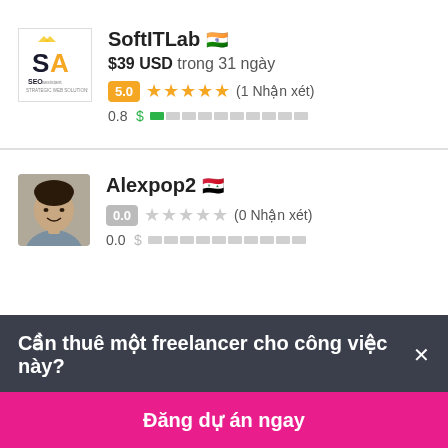[Figure (logo): SoftITLab logo with SA letters and SEO branding]
SoftITLab 🇮🇳
$39 USD trong 31 ngày
5.0 ★★★★★ (1 Nhận xét)
0.8 $ ■□□□□□□□□□
[Figure (photo): Profile photo of Alexpop2, male smiling]
Alexpop2 🇸🇾
0.0 ☆☆☆☆☆ (0 Nhận xét)
0.0 $ □□□□□□□□□□
Cần thuê một freelancer cho công việc này?×
Đăng dự án ngay